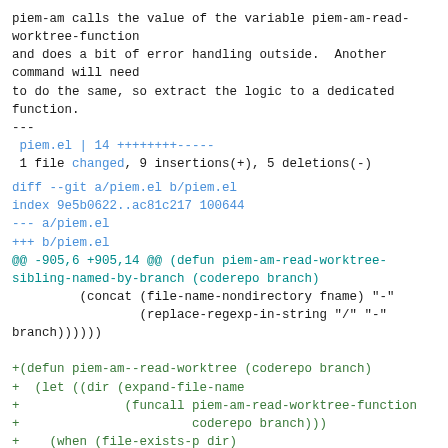piem-am calls the value of the variable piem-am-read-worktree-function
and does a bit of error handling outside.  Another command will need
to do the same, so extract the logic to a dedicated function.
---
 piem.el | 14 ++++++++----- 
 1 file changed, 9 insertions(+), 5 deletions(-)
diff --git a/piem.el b/piem.el
index 9e5b0622..ac81c217 100644
--- a/piem.el
+++ b/piem.el
@@ -905,6 +905,14 @@ (defun piem-am-read-worktree-sibling-named-by-branch (coderepo branch)
          (concat (file-name-nondirectory fname) "-"
                  (replace-regexp-in-string "/" "-"
branch))))))

+(defun piem-am--read-worktree (coderepo branch)
+  (let ((dir (expand-file-name
+              (funcall piem-am-read-worktree-function
+                       coderepo branch)))
+    (when (file-exists-p dir)
+      (user-error "Worktree directory already
exists"))
+    dir))
+
  ;;;###autoload